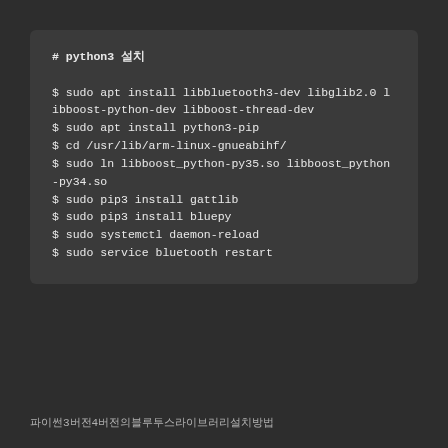# python3 설치

$ sudo apt install libbluetooth3-dev libglib2.0 libboost-python-dev libboost-thread-dev
$ sudo apt install python3-pip
$ cd /usr/lib/arm-linux-gnueabihf/
$ sudo ln libboost_python-py35.so libboost_python-py34.so
$ sudo pip3 install gattlib
$ sudo pip3 install bluepy
$ sudo systemctl daemon-reload
$ sudo service bluetooth restart
파이썬3버전4버전의블루투스라이브러리설치방법